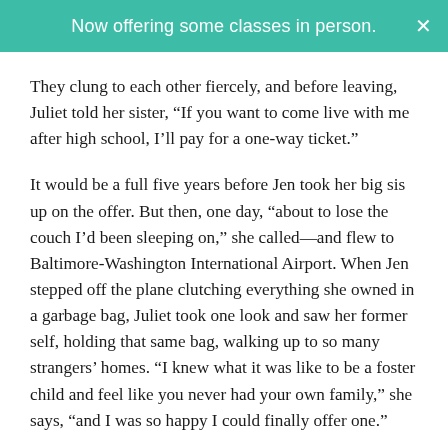Now offering some classes in person.
They clung to each other fiercely, and before leaving, Juliet told her sister, “If you want to come live with me after high school, I’ll pay for a one-way ticket.”
It would be a full five years before Jen took her big sis up on the offer. But then, one day, “about to lose the couch I’d been sleeping on,” she called—and flew to Baltimore-Washington International Airport. When Jen stepped off the plane clutching everything she owned in a garbage bag, Juliet took one look and saw her former self, holding that same bag, walking up to so many strangers’ homes. “I knew what it was like to be a foster child and feel like you never had your own family,” she says, “and I was so happy I could finally offer one.”